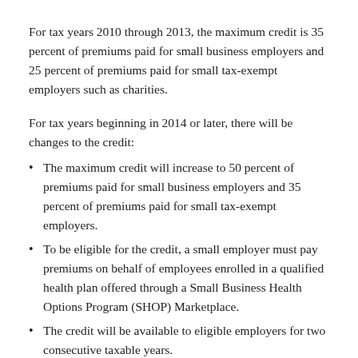For tax years 2010 through 2013, the maximum credit is 35 percent of premiums paid for small business employers and 25 percent of premiums paid for small tax-exempt employers such as charities.
For tax years beginning in 2014 or later, there will be changes to the credit:
The maximum credit will increase to 50 percent of premiums paid for small business employers and 35 percent of premiums paid for small tax-exempt employers.
To be eligible for the credit, a small employer must pay premiums on behalf of employees enrolled in a qualified health plan offered through a Small Business Health Options Program (SHOP) Marketplace.
The credit will be available to eligible employers for two consecutive taxable years.